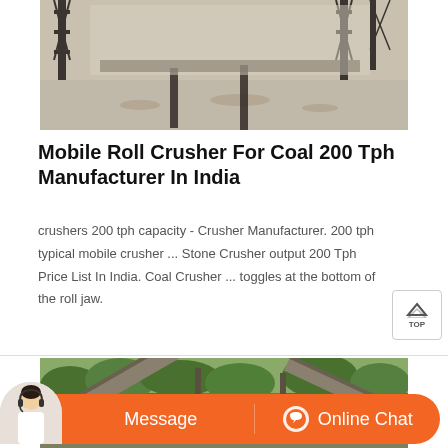[Figure (photo): Black and white photograph of an industrial crusher facility showing steel scaffolding, tracks, and crushed material on the ground]
Mobile Roll Crusher For Coal 200 Tph Manufacturer In India
crushers 200 tph capacity - Crusher Manufacturer. 200 tph typical mobile crusher ... Stone Crusher output 200 Tph Price List In India. Coal Crusher ... toggles at the bottom of the roll jaw.
[Figure (photo): Color photograph of an outdoor mobile crusher / conveyor equipment setup surrounded by green trees]